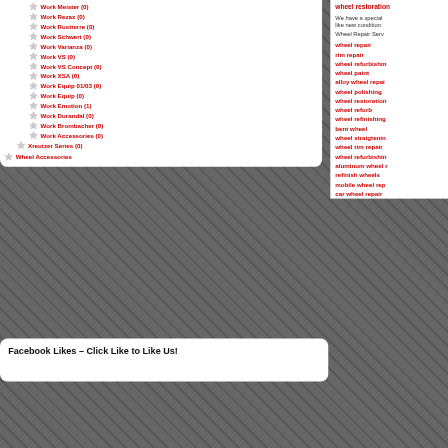Work Meister (0)
Work Rezax (0)
Work Rustterre (0)
Work Schwert (0)
Work Varianza (0)
Work VS (0)
Work VS Concept (0)
Work XSA (0)
Work Equip 01/03 (0)
Work Equip (0)
Work Emotion (1)
Work Durandal (0)
Work Brombacher (0)
Work Accessories (0)
Xreutzer Series (0)
Wheel Accessories
Facebook Likes – Click Like to Like Us!
wheel restoration
We have a special like new condition
Wheel Repair Serv
wheel repair
rim repair
wheel refurbishm
wheel paint
alloy wheel repai
wheel polishing
wheel restoration
wheel refurb
wheel refinishing
bent wheel
wheel straigtenin
wheel rim repair
wheel refurbishin
aluminum wheel r
refinish wheels
mobile wheel rep
car wheel repair